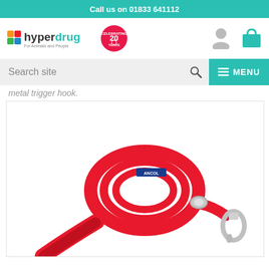Call us on 01833 641112
[Figure (logo): Hyperdrug logo with colorful cross icon, 'hyperdrug For Animals and People' text, and a '20 Years Celebrating' badge]
[Figure (screenshot): Search site input bar with magnifying glass icon and teal MENU button with hamburger icon]
metal trigger hook.
[Figure (photo): Red nylon dog lead/leash with padded handle and metal trigger hook, with Ancol branding label, coiled on white background]